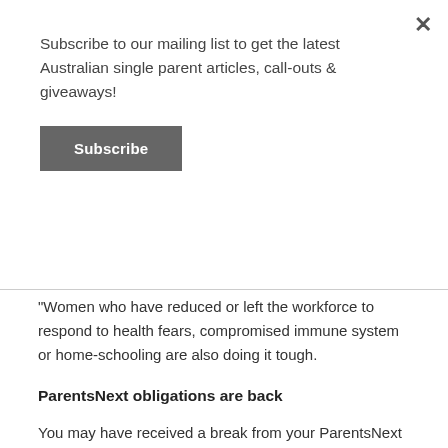Subscribe to our mailing list to get the latest Australian single parent articles, call-outs & giveaways!
Subscribe
“Women who have reduced or left the workforce to respond to health fears, compromised immune system or home-schooling are also doing it tough.
ParentsNext obligations are back
You may have received a break from your ParentsNext obligations but that has all finished on 27 September. Mutual obligation requirements for mums in the ParentsNext program have started again and will continue for everyone except those living in Victoria.
That doesn’t mean you have to attend face-to-face appointments, you can now opt for phone or online servicing.